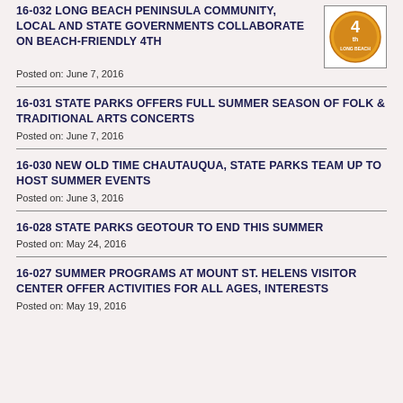16-032 LONG BEACH PENINSULA COMMUNITY, LOCAL AND STATE GOVERNMENTS COLLABORATE ON BEACH-FRIENDLY 4TH
Posted on: June 7, 2016
16-031 STATE PARKS OFFERS FULL SUMMER SEASON OF FOLK & TRADITIONAL ARTS CONCERTS
Posted on: June 7, 2016
16-030 NEW OLD TIME CHAUTAUQUA, STATE PARKS TEAM UP TO HOST SUMMER EVENTS
Posted on: June 3, 2016
16-028 STATE PARKS GEOTOUR TO END THIS SUMMER
Posted on: May 24, 2016
16-027 SUMMER PROGRAMS AT MOUNT ST. HELENS VISITOR CENTER OFFER ACTIVITIES FOR ALL AGES, INTERESTS
Posted on: May 19, 2016